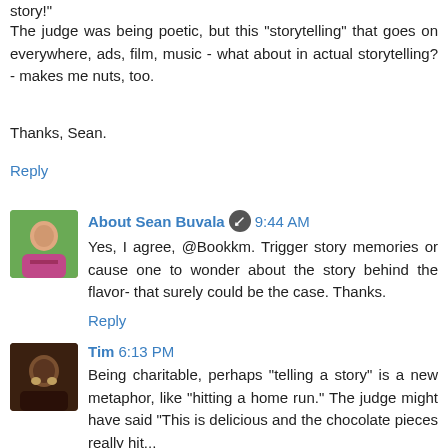story!"
The judge was being poetic, but this "storytelling" that goes on everywhere, ads, film, music - what about in actual storytelling? - makes me nuts, too.
Thanks, Sean.
Reply
About Sean Buvala  9:44 AM
Yes, I agree, @Bookkm. Trigger story memories or cause one to wonder about the story behind the flavor- that surely could be the case. Thanks.
Reply
Tim  6:13 PM
Being charitable, perhaps "telling a story" is a new metaphor, like "hitting a home run." The judge might have said "This is delicious and the chocolate pieces really hit...